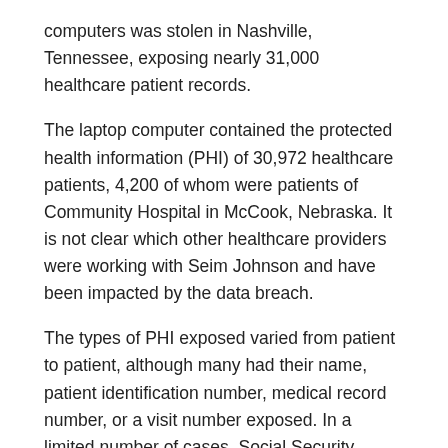computers was stolen in Nashville, Tennessee, exposing nearly 31,000 healthcare patient records.
The laptop computer contained the protected health information (PHI) of 30,972 healthcare patients, 4,200 of whom were patients of Community Hospital in McCook, Nebraska. It is not clear which other healthcare providers were working with Seim Johnson and have been impacted by the data breach.
The types of PHI exposed varied from patient to patient, although many had their name, patient identification number, medical record number, or a visit number exposed. In a limited number of cases, Social Security numbers were compromised, although no financial information was stored on the laptop.
Patients are in the process of being informed of the privacy breach. If a Social Security number was stored